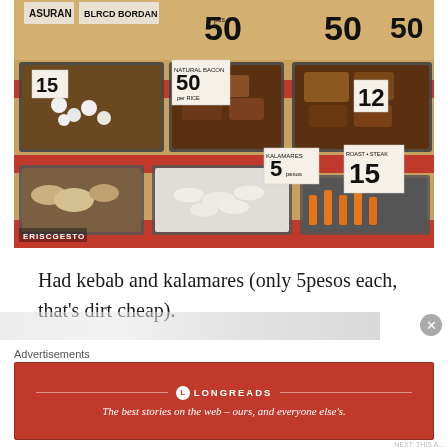[Figure (photo): A market food stall with metal trays of various street foods including kebab, kalamares (squid), and other items. Price signs visible showing amounts like 50, 15, 12, 5 pesos. Watermark 'ERISCGESTO' in bottom left corner.]
Had kebab and kalamares (only 5pesos each, that's dirt cheap).
Advertisements
LONGREADS
The best stories on the web – ours, and everyone else's.